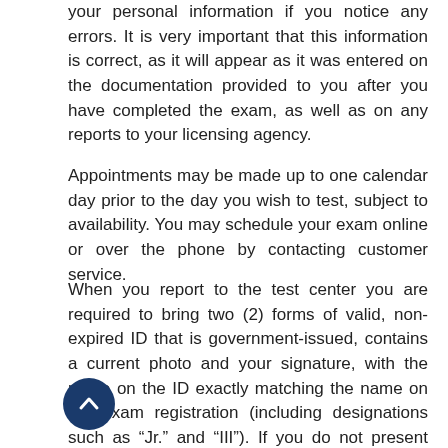your personal information if you notice any errors. It is very important that this information is correct, as it will appear as it was entered on the documentation provided to you after you have completed the exam, as well as on any reports to your licensing agency.
Appointments may be made up to one calendar day prior to the day you wish to test, subject to availability. You may schedule your exam online or over the phone by contacting customer service.
When you report to the test center you are required to bring two (2) forms of valid, non-expired ID that is government-issued, contains a current photo and your signature, with the name on the ID exactly matching the name on the exam registration (including designations such as “Jr.” and “III”). If you do not present your ID on the day of the exam you will be denied admission to the test center and will be considered absent. You also will forfeit your examination fee. For additional information or clarification on what to bring please refer to the Candidate Handbook.
[Figure (other): Dark blue circular scroll-to-top button with upward-pointing arrow icon]